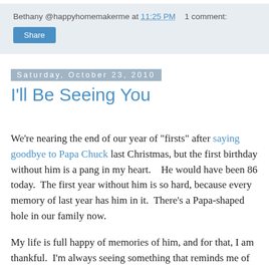Bethany @happyhomemakerme at 11:25 PM    1 comment:
Share
Saturday, October 23, 2010
I'll Be Seeing You
We're nearing the end of our year of "firsts" after saying goodbye to Papa Chuck last Christmas, but the first birthday without him is a pang in my heart.    He would have been 86 today.  The first year without him is so hard, because every memory of last year has him in it.  There's a Papa-shaped hole in our family now.
My life is full happy of memories of him, and for that, I am thankful.  I'm always seeing something that reminds me of him, finding something he fixed for me at one time or another, thinking of something that would make him laugh.  I'm so thankful that he was my grandfather, and that I have